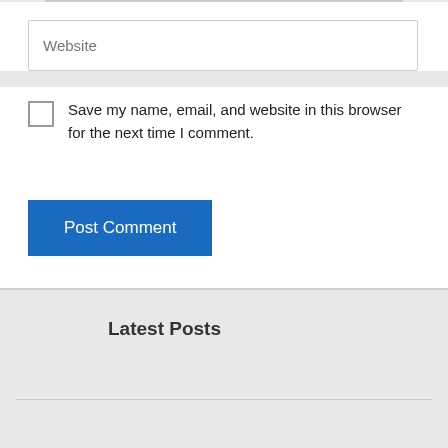Website
Save my name, email, and website in this browser for the next time I comment.
Post Comment
Latest Posts